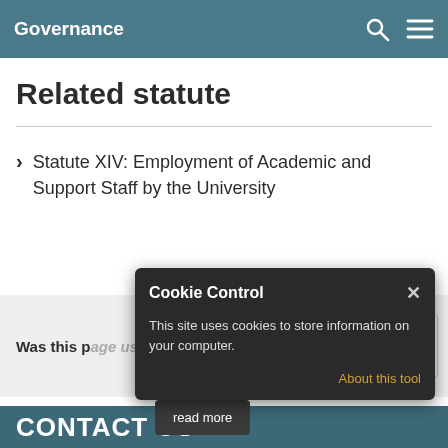Governance
Related statute
Statute XIV: Employment of Academic and Support Staff by the University
Was this page useful?
NO
Cookie Control
This site uses cookies to store information on your computer.
About this tool
read more
CONTACT US